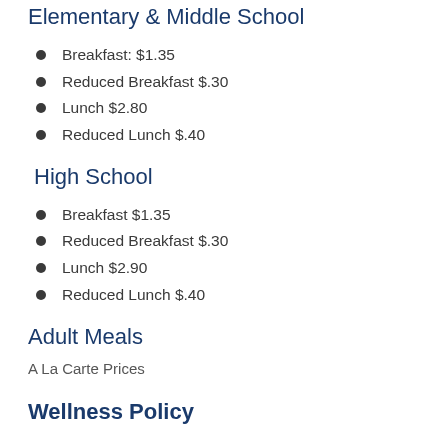Elementary & Middle School
Breakfast: $1.35
Reduced Breakfast $.30
Lunch $2.80
Reduced Lunch $.40
High School
Breakfast $1.35
Reduced Breakfast $.30
Lunch $2.90
Reduced Lunch $.40
Adult Meals
A La Carte Prices
Wellness Policy